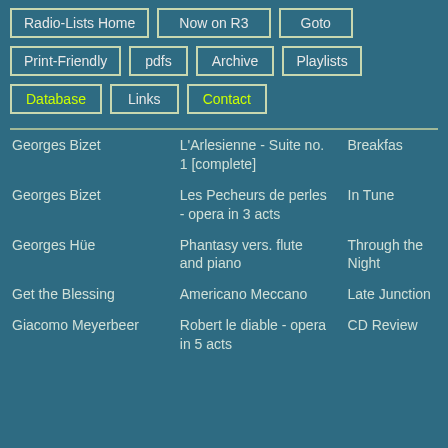Radio-Lists Home
Now on R3
Goto
Print-Friendly
pdfs
Archive
Playlists
Database
Links
Contact
| Composer | Work | Show |
| --- | --- | --- |
| Georges Bizet | L'Arlesienne - Suite no. 1 [complete] | Breakfas... |
| Georges Bizet | Les Pecheurs de perles - opera in 3 acts | In Tune |
| Georges Hüe | Phantasy vers. flute and piano | Through the Night |
| Get the Blessing | Americano Meccano | Late Junction |
| Giacomo Meyerbeer | Robert le diable - opera in 5 acts | CD Review |